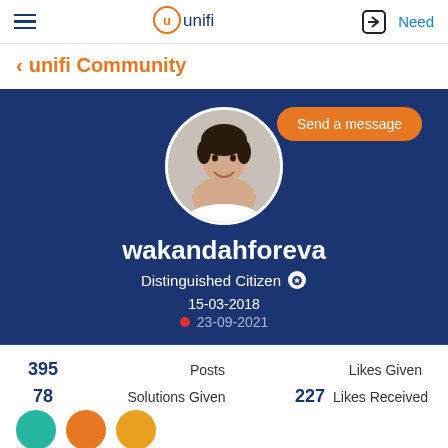unifi (logo) | login icon | Need
< unifi Community
[Figure (screenshot): User profile page on unifi Community showing avatar photo of a young man, username wakandahforeva, role Distinguished Citizen, join date 15-03-2018, last active 23-09-2021, stats: 395 Posts, 78 Solutions Given, 227 Likes Received, Likes Given. Orange Send a message button top right. Orange FAB edit button bottom right.]
wakandahforeva
Distinguished Citizen ✪
15-03-2018
23-09-2021
395 Posts
78 Solutions Given
227 Likes Received
Likes Given